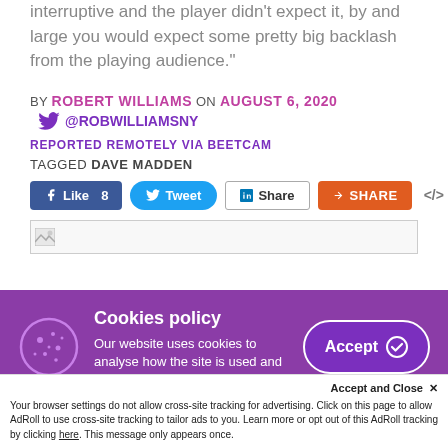interruptive and the player didn't expect it, by and large you would expect some pretty big backlash from the playing audience."
BY ROBERT WILLIAMS ON AUGUST 6, 2020
@ROBWILLIAMSNY
REPORTED REMOTELY VIA BEETCAM
TAGGED DAVE MADDEN
[Figure (screenshot): Social share buttons: Facebook Like 8, Tweet, LinkedIn Share, orange Share button, and code embed button]
[Figure (screenshot): Ad placeholder image with broken image icon]
Cookies policy
Our website uses cookies to analyse how the site is used and to ensure your experience is
Accept and Close ✕
Your browser settings do not allow cross-site tracking for advertising. Click on this page to allow AdRoll to use cross-site tracking to tailor ads to you. Learn more or opt out of this AdRoll tracking by clicking here. This message only appears once.